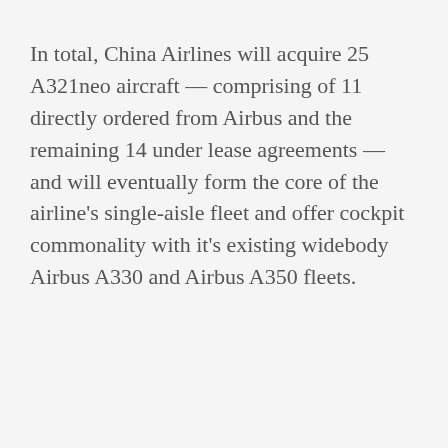In total, China Airlines will acquire 25 A321neo aircraft — comprising of 11 directly ordered from Airbus and the remaining 14 under lease agreements — and will eventually form the core of the airline's single-aisle fleet and offer cockpit commonality with it's existing widebody Airbus A330 and Airbus A350 fleets.